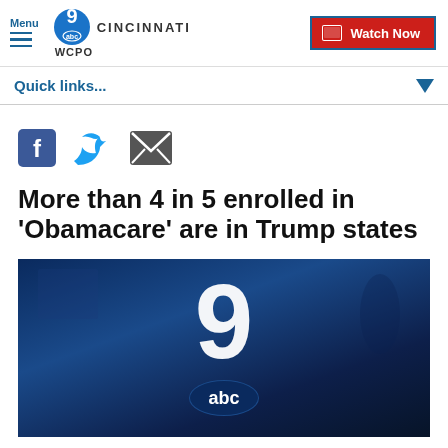Menu | WCPO 9 abc CINCINNATI | Watch Now
Quick links...
[Figure (infographic): Social share icons: Facebook, Twitter, Email]
More than 4 in 5 enrolled in 'Obamacare' are in Trump states
[Figure (screenshot): WCPO 9 abc Cincinnati news broadcast still image with dark blue background showing the channel 9 abc logo]